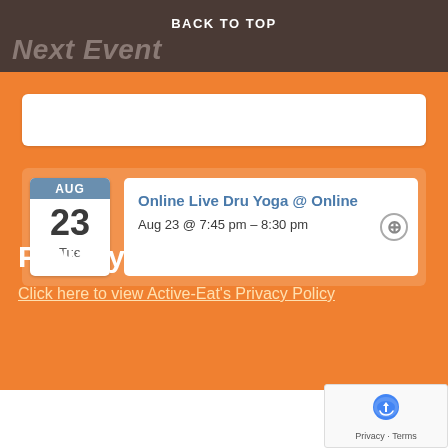BACK TO TOP
Next Event
[Figure (other): Empty search/input box with white background and rounded corners]
AUG 23 Tue | Online Live Dru Yoga @ Online | Aug 23 @ 7:45 pm – 8:30 pm
Privacy Policy
Click here to view Active-Eat's Privacy Policy
Website powered by The Soapy Group
Proudly powered by WordPress   Theme: Shoreditch by Aut